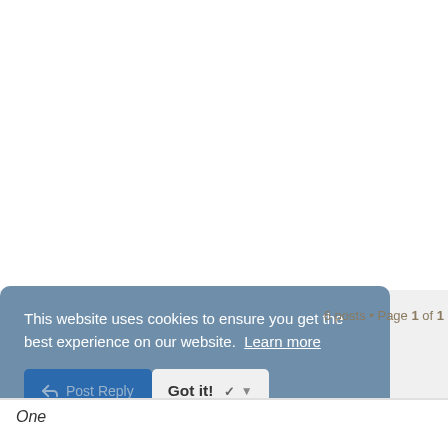This website uses cookies to ensure you get the best experience on our website. Learn more
Post Reply
Got it!
6 posts • Page 1 of 1
One